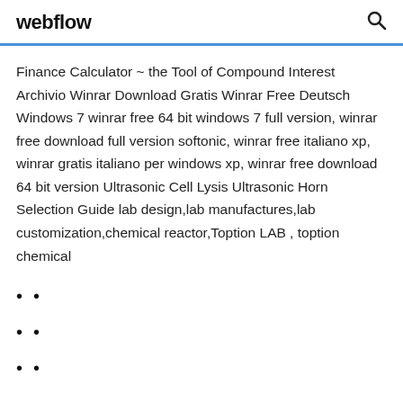webflow
Finance Calculator ~ the Tool of Compound Interest Archivio Winrar Download Gratis Winrar Free Deutsch Windows 7 winrar free 64 bit windows 7 full version, winrar free download full version softonic, winrar free italiano xp, winrar gratis italiano per windows xp, winrar free download 64 bit version Ultrasonic Cell Lysis Ultrasonic Horn Selection Guide lab design,lab manufactures,lab customization,chemical reactor,Toption LAB , toption chemical